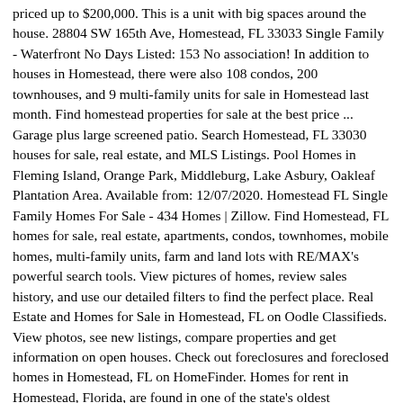priced up to $200,000. This is a unit with big spaces around the house. 28804 SW 165th Ave, Homestead, FL 33033 Single Family - Waterfront No Days Listed: 153 No association! In addition to houses in Homestead, there were also 108 condos, 200 townhouses, and 9 multi-family units for sale in Homestead last month. Find homestead properties for sale at the best price ... Garage plus large screened patio. Search Homestead, FL 33030 houses for sale, real estate, and MLS Listings. Pool Homes in Fleming Island, Orange Park, Middleburg, Lake Asbury, Oakleaf Plantation Area. Available from: 12/07/2020. Homestead FL Single Family Homes For Sale - 434 Homes | Zillow. Find Homestead, FL homes for sale, real estate, apartments, condos, townhomes, mobile homes, multi-family units, farm and land lots with RE/MAX's powerful search tools. View pictures of homes, review sales history, and use our detailed filters to find the perfect place. Real Estate and Homes for Sale in Homestead, FL on Oodle Classifieds. View photos, see new listings, compare properties and get information on open houses. Check out foreclosures and foreclosed homes in Homestead, FL on HomeFinder. Homes for rent in Homestead, Florida, are found in one of the state's oldest cities.Located in the southern tip of Miami-Dade County, residents here can find plenty of relaxation and peace.. View listing photos, nearby sales and find the perfect home for sale in Homestead, FL. View listing photos, review sales history, and use our detailed real estate filters to find the perfect place. 185 Townhomes For Sale in Homestead, FL. Prices in Homestead, FL, starting from $175,...